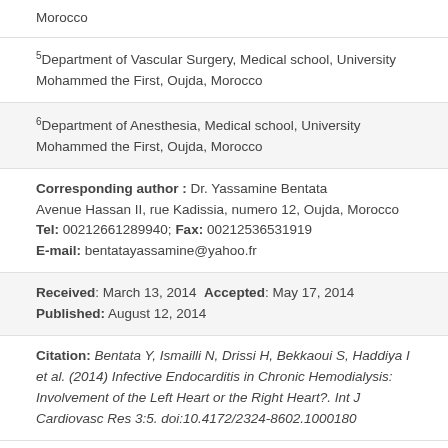Morocco
5Department of Vascular Surgery, Medical school, University Mohammed the First, Oujda, Morocco
6Department of Anesthesia, Medical school, University Mohammed the First, Oujda, Morocco
Corresponding author : Dr. Yassamine Bentata Avenue Hassan II, rue Kadissia, numero 12, Oujda, Morocco
Tel: 00212661289940; Fax: 00212536531919
E-mail: bentatayassamine@yahoo.fr
Received: March 13, 2014 Accepted: May 17, 2014
Published: August 12, 2014
Citation: Bentata Y, Ismailli N, Drissi H, Bekkaoui S, Haddiya I et al. (2014) Infective Endocarditis in Chronic Hemodialysis: Involvement of the Left Heart or the Right Heart?. Int J Cardiovasc Res 3:5. doi:10.4172/2324-8602.1000180
Keywords: Infective endocarditis; Chronic hemodialysis;